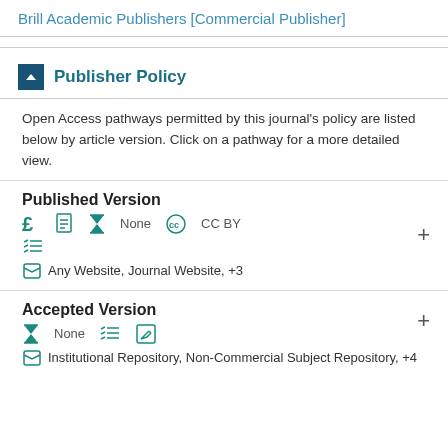Brill Academic Publishers [Commercial Publisher]
Publisher Policy
Open Access pathways permitted by this journal's policy are listed below by article version. Click on a pathway for a more detailed view.
Published Version
£ [icon] [hourglass] None [cc] CC BY
[list icon]
[folder] Any Website, Journal Website, +3
Accepted Version
[hourglass] None [list icon] [edit icon]
[folder] Institutional Repository, Non-Commercial Subject Repository, +4